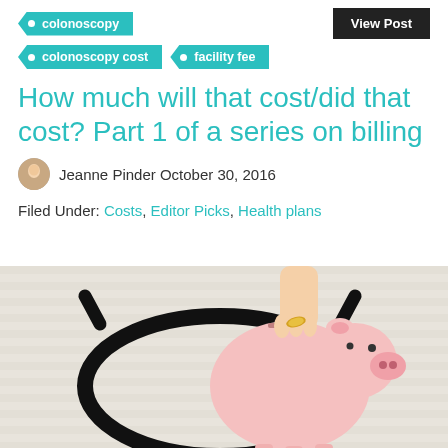colonoscopy
colonoscopy cost
facility fee
How much will that cost/did that cost? Part 1 of a series on billing
Jeanne Pinder October 30, 2016
Filed Under: Costs, Editor Picks, Health plans
[Figure (photo): A hand inserting a coin into a pink piggy bank surrounded by a black stethoscope on a light striped surface.]